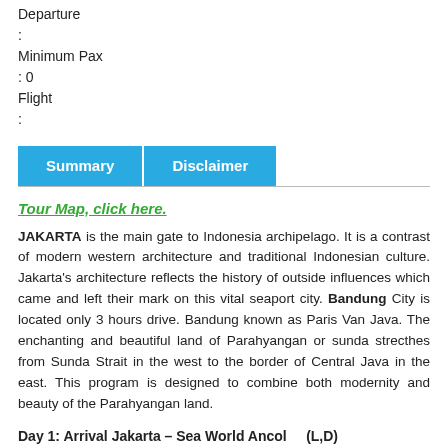Departure
:
Minimum Pax
: 0
Flight
:
Summary | Disclaimer (tabs)
Tour Map, click here.
JAKARTA is the main gate to Indonesia archipelago. It is a contrast of modern western architecture and traditional Indonesian culture. Jakarta's architecture reflects the history of outside influences which came and left their mark on this vital seaport city. Bandung City is located only 3 hours drive. Bandung known as Paris Van Java. The enchanting and beautiful land of Parahyangan or sunda strecthes from Sunda Strait in the west to the border of Central Java in the east. This program is designed to combine both modernity and beauty of the Parahyangan land.
Day 1: Arrival Jakarta – Sea World Ancol    (L,D)